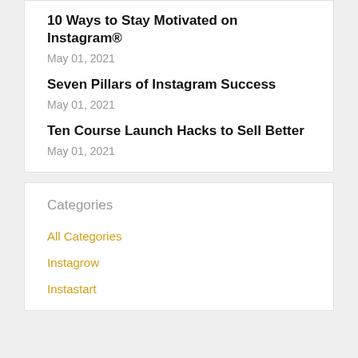10 Ways to Stay Motivated on Instagram®
May 01, 2021
Seven Pillars of Instagram Success
May 01, 2021
Ten Course Launch Hacks to Sell Better
May 01, 2021
Categories
All Categories
Instagrow
Instastart